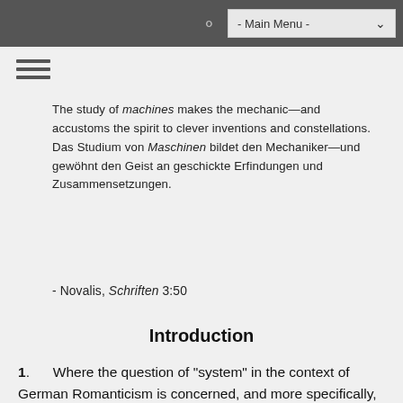- Main Menu -
The study of machines makes the mechanic—and accustoms the spirit to clever inventions and constellations. Das Studium von Maschinen bildet den Mechaniker—und gewöhnt den Geist an geschickte Erfindungen und Zusammensetzungen.
- Novalis, Schriften 3:50
Introduction
1. Where the question of "system" in the context of German Romanticism is concerned, and more specifically, in the aphorisms of Novalis and Friedrich Schlegel, it is all too tempting to dismiss the concept out of hand: not because it has no role to play in Romantic thinking (it does), but because the system-